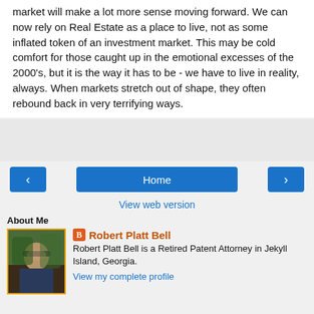market will make a lot more sense moving forward.  We can now rely on Real Estate as a place to live, not as some inflated token of an investment market.  This may be cold comfort for those caught up in the emotional excesses of the 2000's, but it is the way it has to be - we have to live in reality, always.  When markets stretch out of shape, they often rebound back in very terrifying ways.
[Figure (other): Navigation buttons: left arrow, Home, right arrow]
View web version
About Me
[Figure (photo): Profile photo of Robert Platt Bell, a man wearing sunglasses outdoors with palm trees in background]
Robert Platt Bell
Robert Platt Bell is a Retired Patent Attorney in Jekyll Island, Georgia.
View my complete profile